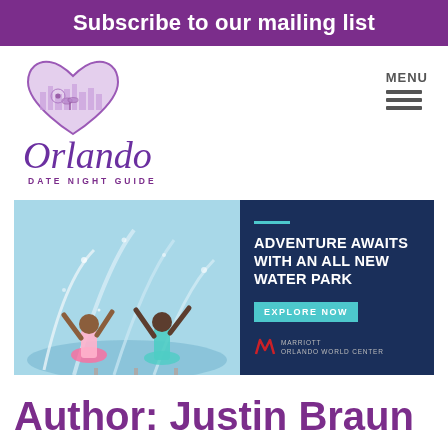Subscribe to our mailing list
[Figure (logo): Orlando Date Night Guide logo - purple heart with city skyline and script text]
MENU
[Figure (photo): Advertisement: Two girls playing in water park splash pad. Dark blue panel reads 'Adventure Awaits With An All New Water Park' with teal Explore Now button and Marriott Orlando World Center logo]
Author: Justin Braun